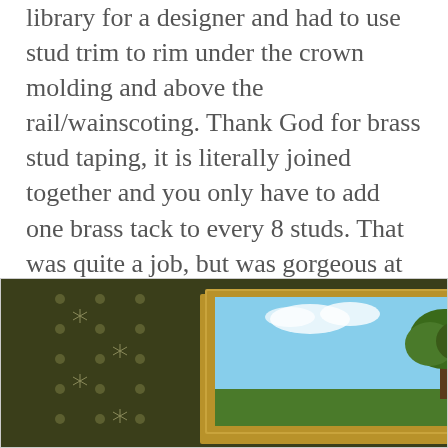library for a designer and had to use stud trim to rim under the crown molding and above the rail/wainscoting. Thank God for brass stud taping, it is literally joined together and you only have to add one brass tack to every 8 studs. That was quite a job, but was gorgeous at completion. Now there are so many different studs to choose from and with them already adhered to wall coverings the daunting task of adding them is cut out! I have found some of my favorite stud applications and I hope you agree they are truly worth adding to a room!
[Figure (photo): Interior room photo showing dark olive/green walls with starburst stud pattern, a framed landscape painting with gold frame showing a tree and blue sky, olive/gold curtains on the right side, and a small white ceramic lamp or vase in the background right.]